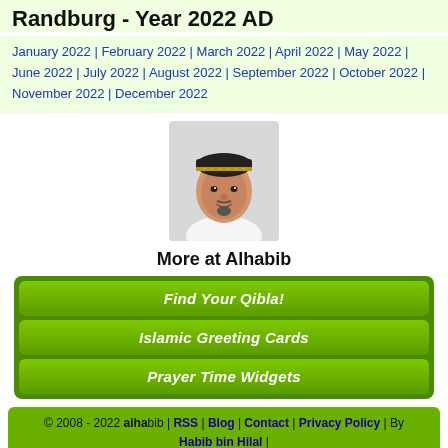Randburg - Year 2022 AD
January 2022 | February 2022 | March 2022 | April 2022 | May 2022 | June 2022 | July 2022 | August 2022 | September 2022 | October 2022 | November 2022 | December 2022
[Figure (photo): Portrait photo of a man wearing a traditional Islamic cap]
More at Alhabib
Find Your Qibla!
Islamic Greeting Cards
Prayer Time Widgets
© 2008 - 2022 alhabib | RSS | Blog | Contact | Privacy Policy | By Habib bin Hilal |